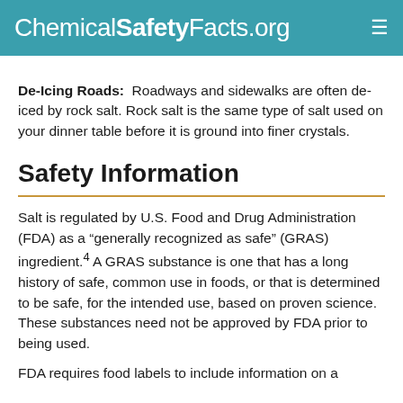ChemicalSafetyFacts.org
De-Icing Roads: Roadways and sidewalks are often de-iced by rock salt. Rock salt is the same type of salt used on your dinner table before it is ground into finer crystals.
Safety Information
Salt is regulated by U.S. Food and Drug Administration (FDA) as a “generally recognized as safe” (GRAS) ingredient.⁴ A GRAS substance is one that has a long history of safe, common use in foods, or that is determined to be safe, for the intended use, based on proven science. These substances need not be approved by FDA prior to being used.
FDA requires food labels to include information on a